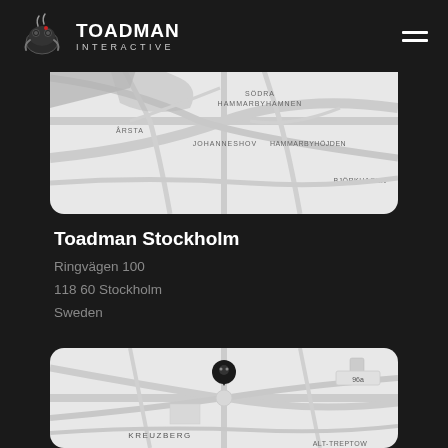Toadman Interactive — Navigation header with logo and hamburger menu
[Figure (map): Grayscale map of Stockholm showing areas: SKAJEN, HAMMARBY SJÖSTAD, SÖDRA HAMMARBYHAMNEN,ÅRSTA, JOHANNESHOV, HAMMARBYHÖJDEN, BJÖRKHAGEN, with a map pin marker at top center]
Toadman Stockholm
Ringvägen 100
118 60 Stockholm
Sweden
[Figure (map): Grayscale map of Berlin/Kreuzberg area showing KREUZBERG label, 96a marker, ALT-TREPTOW label, with a Toadman pin marker in upper center area]